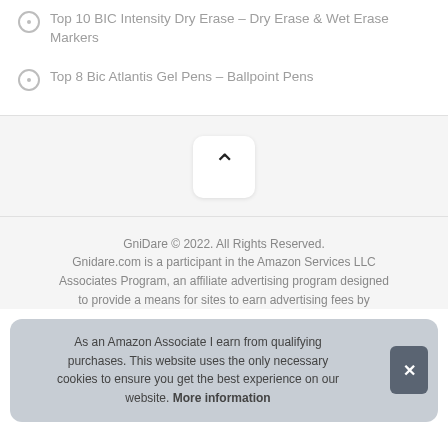Top 10 BIC Intensity Dry Erase – Dry Erase & Wet Erase Markers
Top 8 Bic Atlantis Gel Pens – Ballpoint Pens
[Figure (other): A white rounded button with an upward chevron/caret arrow icon, on a light gray background.]
GniDare © 2022. All Rights Reserved. Gnidare.com is a participant in the Amazon Services LLC Associates Program, an affiliate advertising program designed to provide a means for sites to earn advertising fees by
As an Amazon Associate I earn from qualifying purchases. This website uses the only necessary cookies to ensure you get the best experience on our website. More information